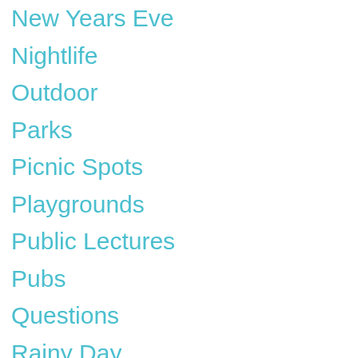New Years Eve
Nightlife
Outdoor
Parks
Picnic Spots
Playgrounds
Public Lectures
Pubs
Questions
Rainy Day
Remembrance Day
Restaurants
Romantic
School Holidays